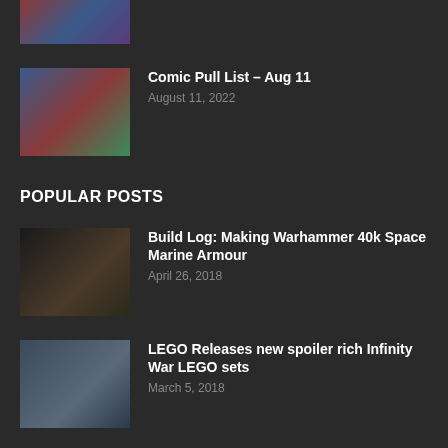[Figure (photo): Partial comic book cover image, cropped at top]
Comic Pull List – Aug 11
August 11, 2022
POPULAR POSTS
Build Log: Making Warhammer 40k Space Marine Armour
April 26, 2018
LEGO Releases new spoiler rich Infinity War LEGO sets
March 5, 2018
Want to come help Geek Society AU?
December 31, 2016